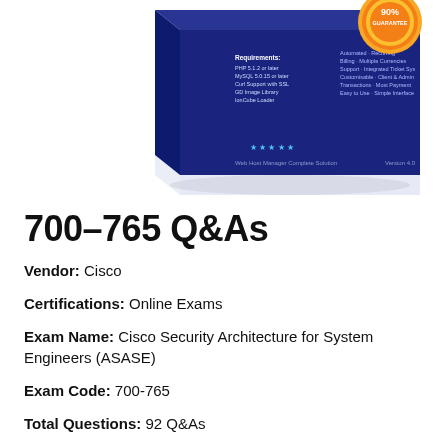[Figure (illustration): Software product box with dark blue color, showing 'Web Host Manager Complete Solution Version 4.0' text with features listed, and a gold '90% Guarantee' badge on top right. Box is shown at an angle with a reflection.]
700-765 Q&As
Vendor: Cisco
Certifications: Online Exams
Exam Name: Cisco Security Architecture for System Engineers (ASASE)
Exam Code: 700-765
Total Questions: 92 Q&As